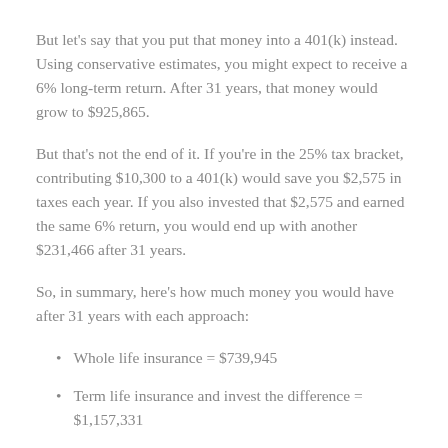But let's say that you put that money into a 401(k) instead. Using conservative estimates, you might expect to receive a 6% long-term return. After 31 years, that money would grow to $925,865.
But that's not the end of it. If you're in the 25% tax bracket, contributing $10,300 to a 401(k) would save you $2,575 in taxes each year. If you also invested that $2,575 and earned the same 6% return, you would end up with another $231,466 after 31 years.
So, in summary, here's how much money you would have after 31 years with each approach:
Whole life insurance = $739,945
Term life insurance and invest the difference = $1,157,331